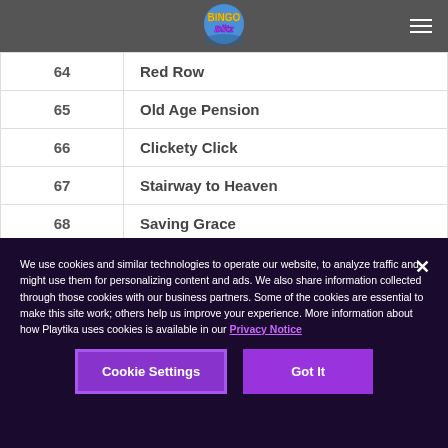Bingo Blitz
| Number | Name |
| --- | --- |
| 64 | Red Row |
| 65 | Old Age Pension |
| 66 | Clickety Click |
| 67 | Stairway to Heaven |
| 68 | Saving Grace |
| 69 | Favourite of Mine |
We use cookies and similar technologies to operate our website, to analyze traffic and might use them for personalizing content and ads. We also share information collected through those cookies with our business partners. Some of the cookies are essential to make this site work; others help us improve your experience. More information about how Playtika uses cookies is available in our Privacy Notice